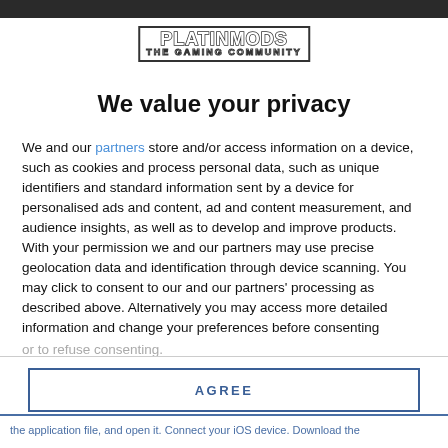[Figure (logo): PLATINMODS THE GAMING COMMUNITY logo with bordered box]
We value your privacy
We and our partners store and/or access information on a device, such as cookies and process personal data, such as unique identifiers and standard information sent by a device for personalised ads and content, ad and content measurement, and audience insights, as well as to develop and improve products. With your permission we and our partners may use precise geolocation data and identification through device scanning. You may click to consent to our and our partners' processing as described above. Alternatively you may access more detailed information and change your preferences before consenting or to refuse consenting.
AGREE
MORE OPTIONS
the application file, and open it. Connect your iOS device. Download the